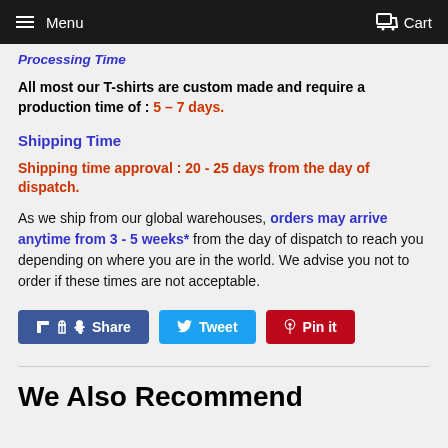Menu  Cart
Processing Time
All most our T-shirts are custom made and require a production time of : 5 – 7 days.
Shipping Time
Shipping time approval : 20 - 25 days from the day of dispatch.
As we ship from our global warehouses, orders may arrive anytime from 3 - 5 weeks* from the day of dispatch to reach you depending on where you are in the world. We advise you not to order if these times are not acceptable.
Share  Tweet  Pin it
We Also Recommend